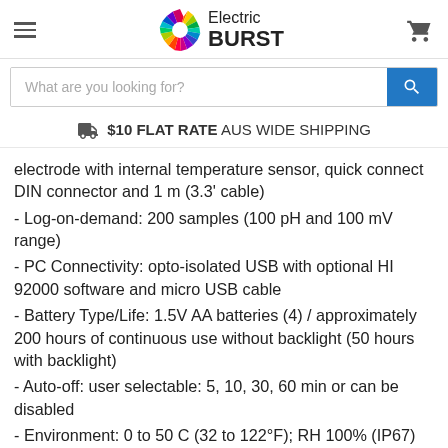Electric BURST — hamburger menu, logo, cart
What are you looking for?
$10 FLAT RATE AUS WIDE SHIPPING
electrode with internal temperature sensor, quick connect DIN connector and 1 m (3.3' cable)
- Log-on-demand: 200 samples (100 pH and 100 mV range)
- PC Connectivity: opto-isolated USB with optional HI 92000 software and micro USB cable
- Battery Type/Life: 1.5V AA batteries (4) / approximately 200 hours of continuous use without backlight (50 hours with backlight)
- Auto-off: user selectable: 5, 10, 30, 60 min or can be disabled
- Environment: 0 to 50 C (32 to 122°F); RH 100% (IP67)